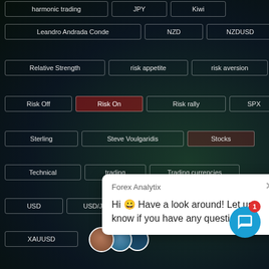harmonic trading
JPY
Kiwi
Leandro Andrada Conde
NZD
NZDUSD
Relative Strength
risk appetite
risk aversion
Risk Off
Risk On
Risk rally
SPX
Sterling
Steve Voulgaridis
Stocks
Technical
trading
Trading currencies
USD
USD/JPY
XAUUSD
Forex Analytix
Hi 😀 Have a look around! Let us know if you have any questions.